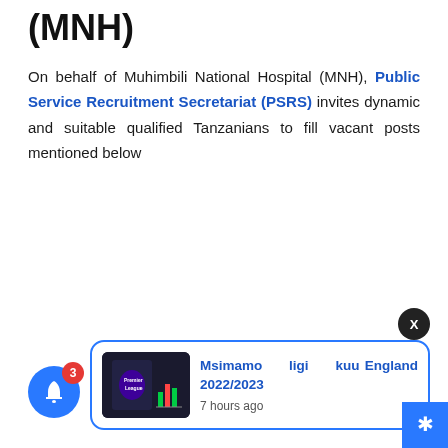(MNH)
On behalf of Muhimbili National Hospital (MNH), Public Service Recruitment Secretariat (PSRS) invites dynamic and suitable qualified Tanzanians to fill vacant posts mentioned below
[Figure (screenshot): Notification card showing Premier League logo on a phone screen with title 'Msimamo ligi kuu England 2022/2023' and timestamp '7 hours ago']